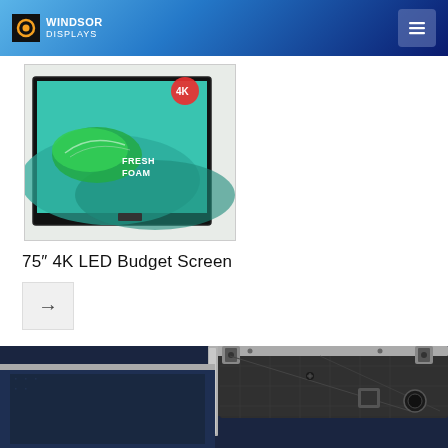Windsor Displays
[Figure (photo): A 75-inch 4K LED TV displaying a Fresh Foam shoe advertisement with a green sneaker and teal background. A 4K logo badge is visible in the upper right corner of the screen.]
75″ 4K LED Budget Screen
[Figure (photo): Close-up photo of the back and side of an LED display panel module, showing mounting hardware, brackets, corners, and a circular port. A dark navy display surface is partially visible at the bottom.]